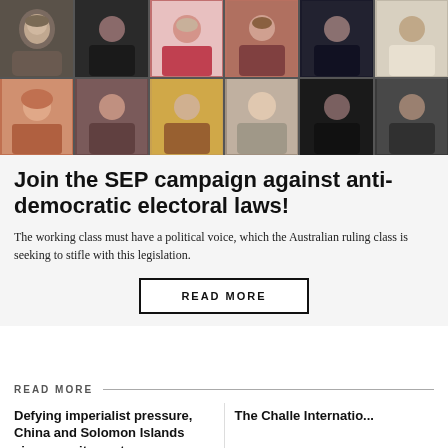[Figure (photo): Grid of 12 people's faces in two rows of six, video call style portraits with various backgrounds]
Join the SEP campaign against anti-democratic electoral laws!
The working class must have a political voice, which the Australian ruling class is seeking to stifle with this legislation.
READ MORE
READ MORE
Defying imperialist pressure, China and Solomon Islands sign security pact
The Challe International...